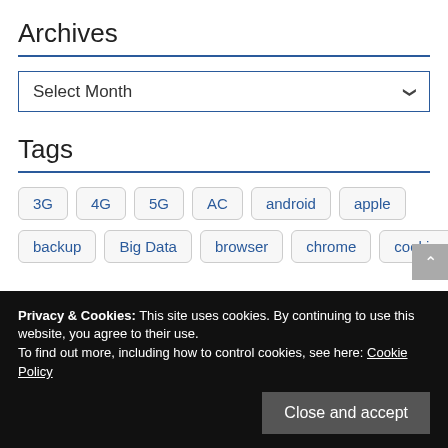Archives
Select Month
Tags
3G
4G
5G
AC
android
apple
backup
Big Data
browser
chrome
cookies
Privacy & Cookies: This site uses cookies. By continuing to use this website, you agree to their use.
To find out more, including how to control cookies, see here: Cookie Policy
Close and accept